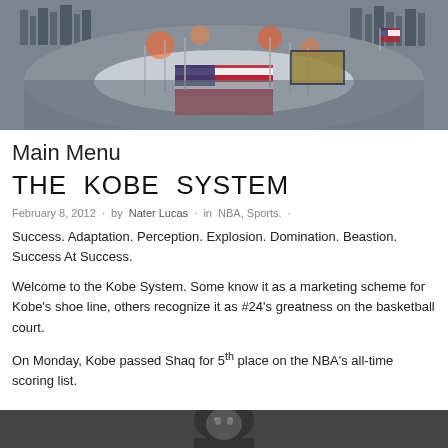[Figure (photo): Aerial view of a large stadium event at night with fireworks, American flag on field, and city skyline in background]
Main Menu
THE KOBE SYSTEM
February 8, 2012 · by Nater Lucas · in NBA, Sports. ·
Success. Adaptation. Perception. Explosion. Domination. Beastion. Success At Success.
Welcome to the Kobe System. Some know it as a marketing scheme for Kobe's shoe line, others recognize it as #24's greatness on the basketball court.
On Monday, Kobe passed Shaq for 5th place on the NBA's all-time scoring list.
[Figure (photo): Partial view of a person, bottom of page image]